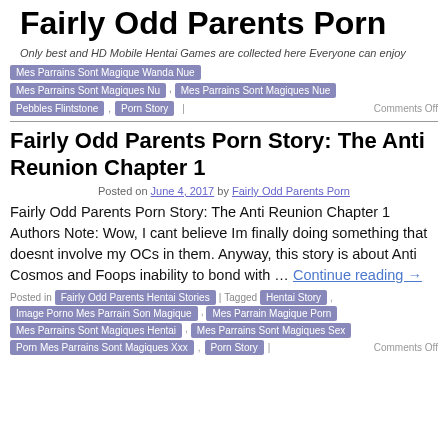Fairly Odd Parents Porn
Only best and HD Mobile Hentai Games are collected here Everyone can enjoy
Mes Parrains Sont Magique Wanda Nue
Mes Parrains Sont Magiques Nu , Mes Parrains Sont Magiques Nue
Pebbles Flintstone , Porn Story | Comments Off
Fairly Odd Parents Porn Story: The Anti Reunion Chapter 1
Posted on June 4, 2017 by Fairly Odd Parents Porn
Fairly Odd Parents Porn Story: The Anti Reunion Chapter 1 Authors Note: Wow, I cant believe Im finally doing something that doesnt involve my OCs in them. Anyway, this story is about Anti Cosmos and Foops inability to bond with … Continue reading →
Posted in Fairly Odd Parents Hentai Stories | Tagged Hentai Story , Image Porno Mes Parrain Son Magique , Mes Parrain Magique Porn , Mes Parrains Sont Magiques Hentai , Mes Parrains Sont Magiques Sex , Porn Mes Parrains Sont Magiques Xxx , Porn Story | Comments Off